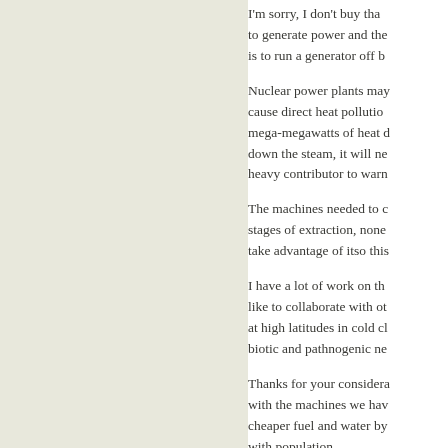I'm sorry, I don't buy tha... to generate power and the... is to run a generator off b...
Nuclear power plants may... cause direct heat pollutio... mega-megawatts of heat d... down the steam, it will ne... heavy contributor to warm...
The machines needed to c... stages of extraction, none... take advantage of itso this...
I have a lot of work on th... like to collaborate with ot... at high latitudes in cold cl... biotic and pathnogenic ne...
Thanks for your considera... with the machines we hav... cheaper fuel and water by... with population...